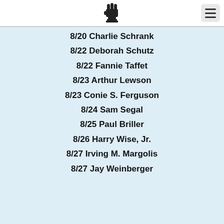[Logo: raised fist icon]
8/20 Charlie Schrank
8/22 Deborah Schutz
8/22 Fannie Taffet
8/23 Arthur Lewson
8/23 Conie S. Ferguson
8/24 Sam Segal
8/25 Paul Briller
8/26 Harry Wise, Jr.
8/27 Irving M. Margolis
8/27 Jay Weinberger